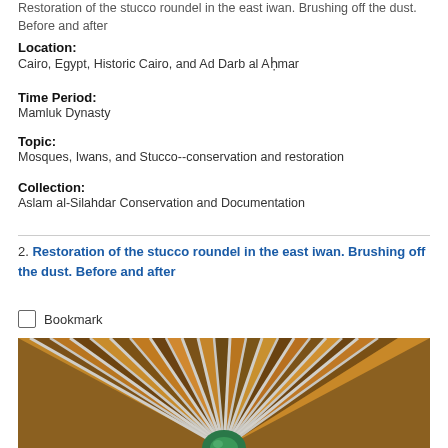Restoration of the stucco roundel in the east iwan. Brushing off the dust. Before and after
Location:
Cairo, Egypt, Historic Cairo, and Ad Darb al Aḥmar
Time Period:
Mamluk Dynasty
Topic:
Mosques, Iwans, and Stucco--conservation and restoration
Collection:
Aslam al-Silahdar Conservation and Documentation
2. Restoration of the stucco roundel in the east iwan. Brushing off the dust. Before and after
Bookmark
[Figure (photo): Close-up photograph of a stucco roundel showing ornate carved stone with radiating petals/spokes in brown/amber tones and a central green stone element, with grey/white mortar between elements.]